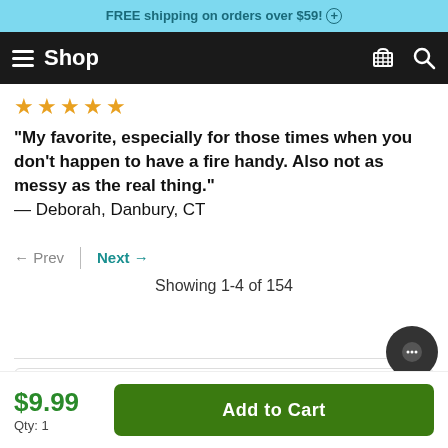FREE shipping on orders over $59! +
Shop
★★★★★
"My favorite, especially for those times when you don't happen to have a fire handy. Also not as messy as the real thing." — Deborah, Danbury, CT
← Prev | Next → Showing 1-4 of 154
$9.99 Qty: 1  Add to Cart